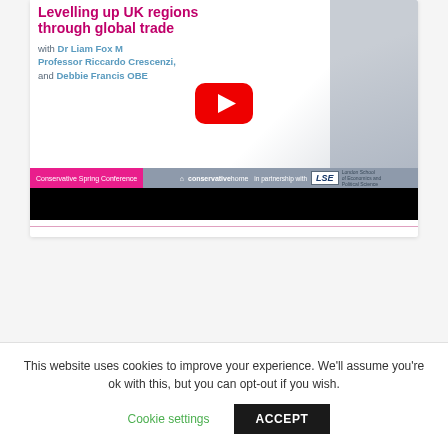[Figure (screenshot): YouTube video thumbnail for 'Levelling up UK regions through global trade' with Dr Liam Fox MP, Professor Riccardo Crescenzi, and Debbie Francis OBE. Shows a YouTube play button overlay, a man in a suit smiling, and a bottom bar showing Conservative Spring Conference, conservativehome, in partnership with LSE.]
This website uses cookies to improve your experience. We'll assume you're ok with this, but you can opt-out if you wish.
Cookie settings   ACCEPT